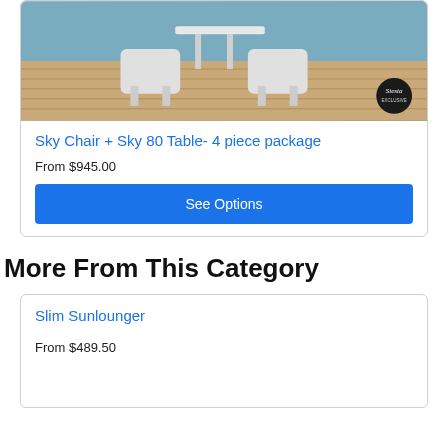[Figure (photo): Outdoor furniture product photo showing white Sky Chair and Sky 80 Table set on a wooden deck with Siesta brand badge]
Sky Chair + Sky 80 Table- 4 piece package
From $945.00
See Options
More From This Category
Slim Sunlounger
From $489.50